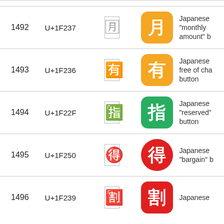| # | Code | Plain | Emoji | Description |
| --- | --- | --- | --- | --- |
| 1492 | U+1F237 | □ | 月 (orange) | Japanese "monthly amount" b... |
| 1493 | U+1F236 | □ | 有 (orange) | Japanese free of cha... button |
| 1494 | U+1F22F | □ | 指 (green) | Japanese "reserved" button |
| 1495 | U+1F250 | □ | 得 (red circle) | Japanese "bargain" b... |
| 1496 | U+1F239 | □ | 割 (red) | Japanese... |